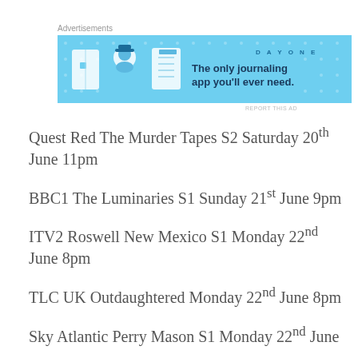Advertisements
[Figure (illustration): Day One journaling app advertisement banner with light blue background, icons of a door, person, and notepad, text 'DAY ONE' and 'The only journaling app you'll ever need.']
Quest Red The Murder Tapes S2 Saturday 20th June 11pm
BBC1 The Luminaries S1 Sunday 21st June 9pm
ITV2 Roswell New Mexico S1 Monday 22nd June 8pm
TLC UK Outdaughtered Monday 22nd June 8pm
Sky Atlantic Perry Mason S1 Monday 22nd June
Sky Comedy Insecure S4 Tuesday 23rd June 9pm